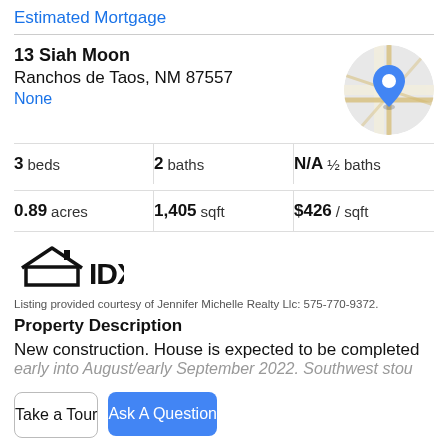Estimated Mortgage
13 Siah Moon
Ranchos de Taos, NM 87557
None
[Figure (map): Circular map thumbnail showing a location pin for 13 Siah Moon, Ranchos de Taos, NM]
| 3 beds | 2 baths | N/A ½ baths |
| 0.89 acres | 1,405 sqft | $426 / sqft |
[Figure (logo): IDX logo - black house outline with IDX text]
Listing provided courtesy of Jennifer Michelle Realty Llc: 575-770-9372.
Property Description
New construction. House is expected to be completed
early into August/early September 2022. Southwest stou